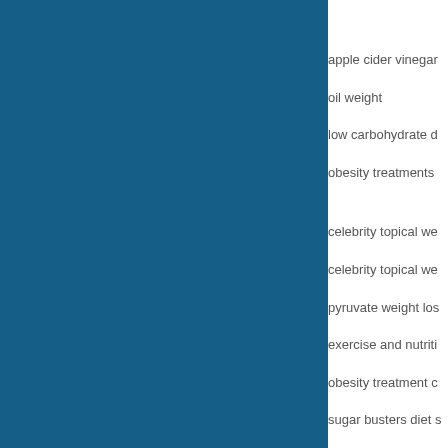[Figure (other): Solid dark blue rectangular block covering the left portion of the page]
apple cider vinegar
oil weight
low carbohydrate d
obesity treatments
celebrity topical we
celebrity topical we
pyruvate weight los
exercise and nutriti
obesity treatment c
sugar busters diet s